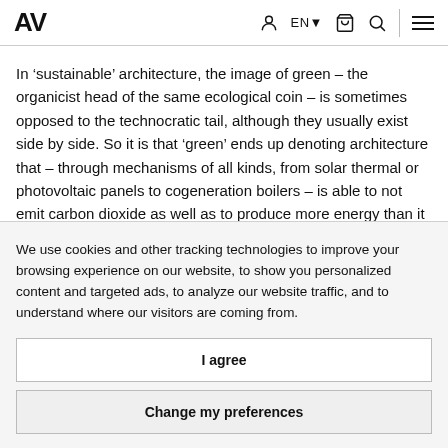AV  EN  (cart icon) (search icon) (menu icon)
In 'sustainable' architecture, the image of green – the organicist head of the same ecological coin – is sometimes opposed to the technocratic tail, although they usually exist side by side. So it is that 'green' ends up denoting architecture that – through mechanisms of all kinds, from solar thermal or photovoltaic panels to cogeneration boilers – is able to not emit carbon dioxide as well as to produce more energy than it consumes; all this in accordance with a calculation that tends not to include the energy used or the
We use cookies and other tracking technologies to improve your browsing experience on our website, to show you personalized content and targeted ads, to analyze our website traffic, and to understand where our visitors are coming from.
I agree
Change my preferences